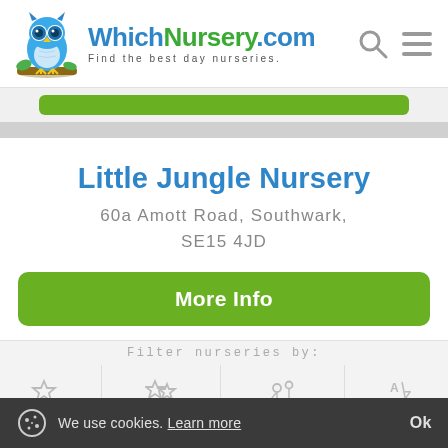[Figure (logo): WhichNursery.com logo with blue owl mascot and tagline 'Find the best day nurseries.']
Little Jungle Nursery
60a Amott Road, Southwark, SE15 4JD
More Info
Filter nurseries by:
We use cookies. Learn more